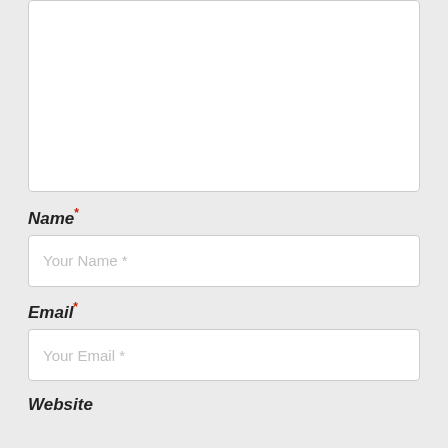[Textarea input box - empty]
Name *
Your Name *
Email *
Your Email *
Website